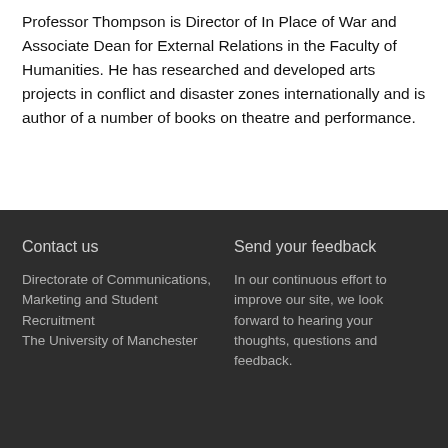Professor Thompson is Director of In Place of War and Associate Dean for External Relations in the Faculty of Humanities. He has researched and developed arts projects in conflict and disaster zones internationally and is author of a number of books on theatre and performance.
Contact us
Directorate of Communications, Marketing and Student Recruitment
The University of Manchester
Send your feedback
In our continuous effort to improve our site, we look forward to hearing your thoughts, questions and feedback.